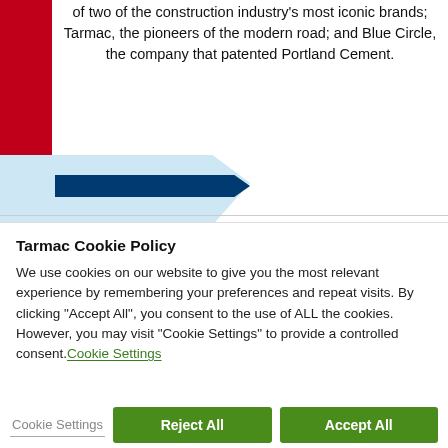of two of the construction industry's most iconic brands; Tarmac, the pioneers of the modern road; and Blue Circle, the company that patented Portland Cement.
[Figure (photo): Partial view of a red vertical bar on the left side with a blue decorative accent banner and dark blue strip below, forming part of a branded section layout.]
Tarmac Cookie Policy
We use cookies on our website to give you the most relevant experience by remembering your preferences and repeat visits. By clicking "Accept All", you consent to the use of ALL the cookies. However, you may visit "Cookie Settings" to provide a controlled consent.Cookie Settings